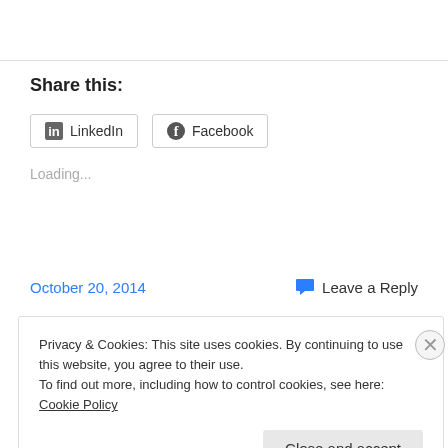Share this:
[Figure (other): LinkedIn and Facebook share buttons]
Loading...
October 20, 2014
Leave a Reply
Privacy & Cookies: This site uses cookies. By continuing to use this website, you agree to their use.
To find out more, including how to control cookies, see here: Cookie Policy
Close and accept